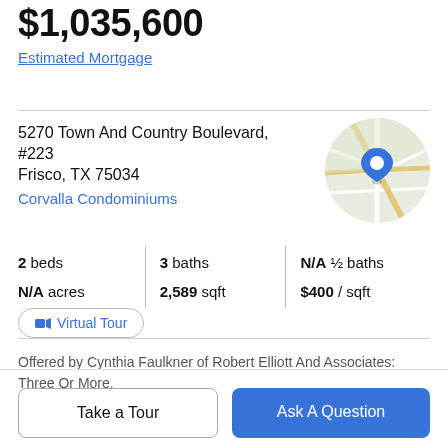$1,035,600
Estimated Mortgage
5270 Town And Country Boulevard, #223
Frisco, TX 75034
Corvalla Condominiums
[Figure (map): Circular map thumbnail showing street map with blue location pin marker]
| 2 beds | 3 baths | N/A ½ baths |
| N/A acres | 2,589 sqft | $400 / sqft |
Virtual Tour
Offered by Cynthia Faulkner of Robert Elliott And Associates: Three Or More.
Take a Tour
Ask A Question